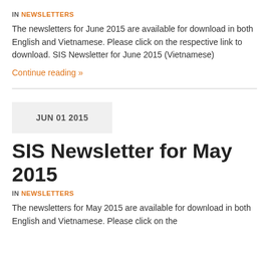IN NEWSLETTERS
The newsletters for June 2015 are available for download in both English and Vietnamese. Please click on the respective link to download. SIS Newsletter for June 2015 (Vietnamese)
Continue reading »
JUN 01 2015
SIS Newsletter for May 2015
IN NEWSLETTERS
The newsletters for May 2015 are available for download in both English and Vietnamese. Please click on the